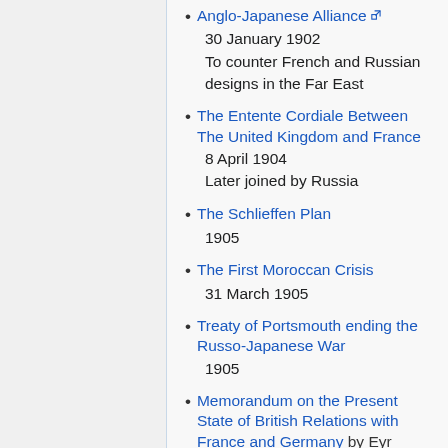Anglo-Japanese Alliance
30 January 1902
To counter French and Russian designs in the Far East
The Entente Cordiale Between The United Kingdom and France
8 April 1904
Later joined by Russia
The Schlieffen Plan
1905
The First Moroccan Crisis
31 March 1905
Treaty of Portsmouth ending the Russo-Japanese War
1905
Memorandum on the Present State of British Relations with France and Germany by Eyre...